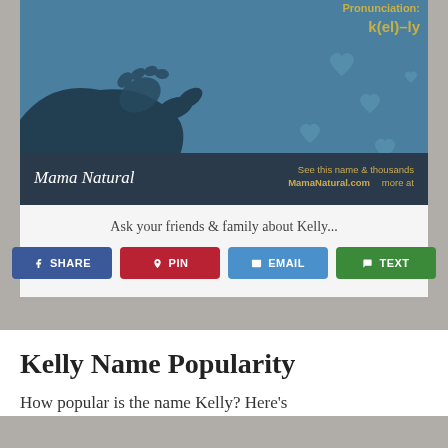[Figure (illustration): Illustration of adult and baby hands holding together on a blue background with heart shapes. Top-right corner shows 'Pronunciation: k(el)-ly' in yellow text. Bottom bar shows Mama Natural logo and 'See this name & thousands more at MamaNatural.com']
Ask your friends & family about Kelly...
SHARE | PIN | EMAIL | TEXT (social share buttons)
Kelly Name Popularity
How popular is the name Kelly? Here's